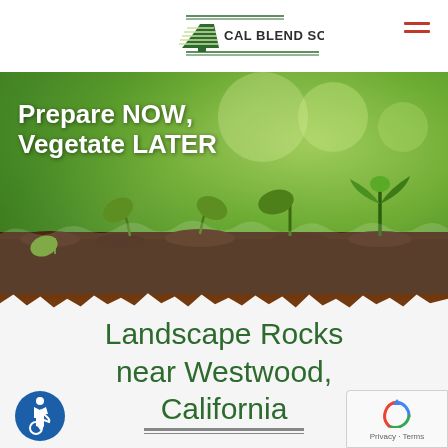[Figure (logo): Cal Blend Soils Inc. logo with green pine tree / shovel icon and text]
[Figure (photo): Hero banner photo showing plant seedlings sprouting from dark soil against green bokeh background, with white text overlay reading 'Prepare NOW, Vegetate LATER']
Landscape Rocks near Westwood, California
[Figure (other): Accessibility (wheelchair) icon in bottom left]
[Figure (other): reCAPTCHA badge in bottom right corner showing Privacy · Terms]